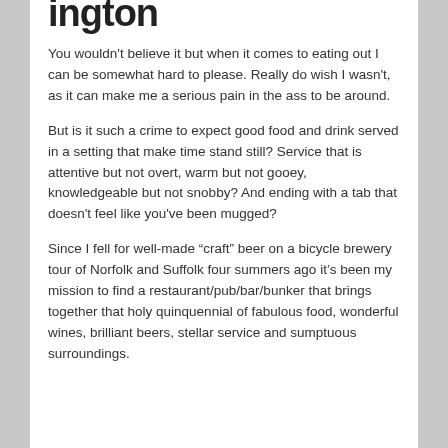...ington
You wouldn't believe it but when it comes to eating out I can be somewhat hard to please. Really do wish I wasn't, as it can make me a serious pain in the ass to be around.
But is it such a crime to expect good food and drink served in a setting that make time stand still? Service that is attentive but not overt, warm but not gooey, knowledgeable but not snobby? And ending with a tab that doesn't feel like you've been mugged?
Since I fell for well-made “craft” beer on a bicycle brewery tour of Norfolk and Suffolk four summers ago it’s been my mission to find a restaurant/pub/bar/bunker that brings together that holy quinquennial of fabulous food, wonderful wines, brilliant beers, stellar service and sumptuous surroundings.